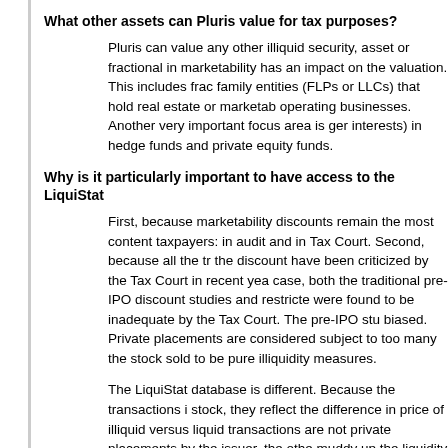What other assets can Pluris value for tax purposes?
Pluris can value any other illiquid security, asset or fractional in marketability has an impact on the valuation. This includes frac family entities (FLPs or LLCs) that hold real estate or marketab operating businesses. Another very important focus area is ger interests) in hedge funds and private equity funds.
Why is it particularly important to have access to the LiquiStat
First, because marketability discounts remain the most content taxpayers: in audit and in Tax Court. Second, because all the tr the discount have been criticized by the Tax Court in recent yea case, both the traditional pre-IPO discount studies and restricte were found to be inadequate by the Tax Court. The pre-IPO stu biased. Private placements are considered subject to too many the stock sold to be pure illiquidity measures.
The LiquiStat database is different. Because the transactions i stock, they reflect the difference in price of illiquid versus liquid transactions are not private placements by the issuer, the othe muddy up the liquidity discount measure. For more information LiquiStat data and the traditional forms of illiquidity discount da